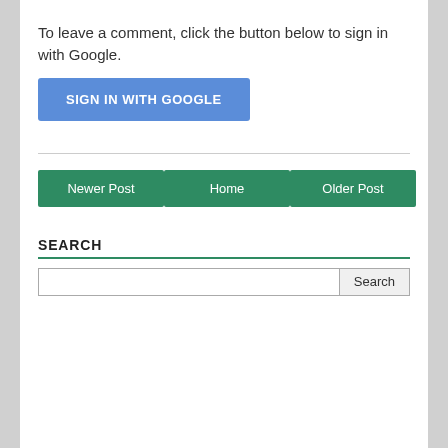To leave a comment, click the button below to sign in with Google.
[Figure (screenshot): Blue 'SIGN IN WITH GOOGLE' button]
[Figure (screenshot): Navigation buttons: Newer Post, Home, Older Post]
SEARCH
[Figure (screenshot): Search input field with Search button]